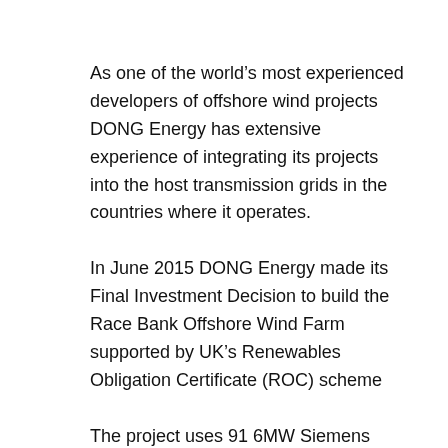As one of the world's most experienced developers of offshore wind projects DONG Energy has extensive experience of integrating its projects into the host transmission grids in the countries where it operates.
In June 2015 DONG Energy made its Final Investment Decision to build the Race Bank Offshore Wind Farm supported by UK's Renewables Obligation Certificate (ROC) scheme
The project uses 91 6MW Siemens Wind Power wind turbines, with a total capacity of 580MW.